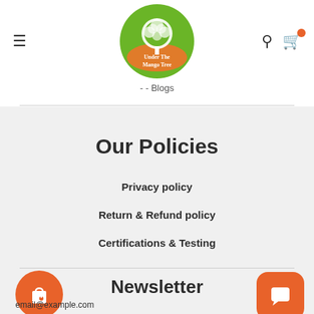[Figure (logo): Under The Mango Tree logo — circular badge with green tree on orange/tan ground]
Blogs
Our Policies
Privacy policy
Return & Refund policy
Certifications & Testing
Newsletter
email@example.com